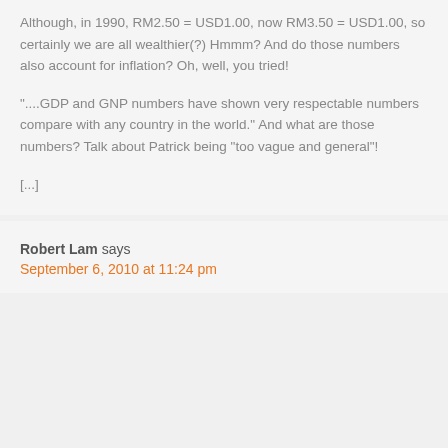Although, in 1990, RM2.50 = USD1.00, now RM3.50 = USD1.00, so certainly we are all wealthier(?) Hmmm? And do those numbers also account for inflation? Oh, well, you tried!
"....GDP and GNP numbers have shown very respectable numbers compare with any country in the world." And what are those numbers? Talk about Patrick being "too vague and general"!
[...]
Robert Lam says
September 6, 2010 at 11:24 pm